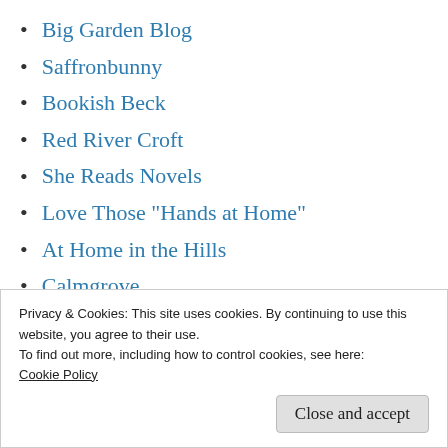Big Garden Blog
Saffronbunny
Bookish Beck
Red River Croft
She Reads Novels
Love Those "Hands at Home"
At Home in the Hills
Calmgrove
Fictionophile
Pining for the West
Privacy & Cookies: This site uses cookies. By continuing to use this website, you agree to their use.
To find out more, including how to control cookies, see here:
Cookie Policy
Close and accept